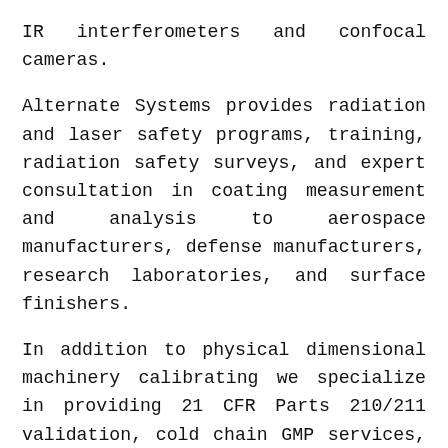IR interferometers and confocal cameras.
Alternate Systems provides radiation and laser safety programs, training, radiation safety surveys, and expert consultation in coating measurement and analysis to aerospace manufacturers, defense manufacturers, research laboratories, and surface finishers.
In addition to physical dimensional machinery calibrating we specialize in providing 21 CFR Parts 210/211 validation, cold chain GMP services, cold chain cGMP and GXP services, cold chain temperature monitoring, temperature-controlled storage facility mapping, temperature measuring systems, temperature calibration, temperature